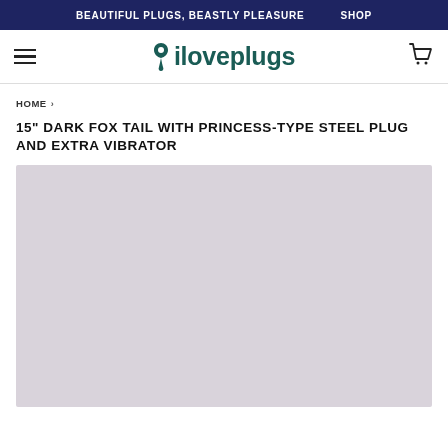BEAUTIFUL PLUGS, BEASTLY PLEASURE   SHOP
[Figure (logo): iloveplugs logo with stylized plug icon and teal text, hamburger menu icon on left, shopping cart icon on right]
HOME ›
15" DARK FOX TAIL WITH PRINCESS-TYPE STEEL PLUG AND EXTRA VIBRATOR
[Figure (photo): Product image area showing a light mauve/lavender placeholder background for a dark fox tail product]